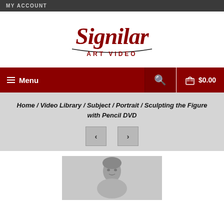MY ACCOUNT
[Figure (logo): Signilar Art Video logo in dark red cursive script with 'ART VIDEO' in smaller text below]
≡ Menu  🔍  🛒 $0.00
Home / Video Library / Subject / Portrait / Sculpting the Figure with Pencil DVD
[Figure (photo): Black and white photo of a person, partially visible at bottom of page]